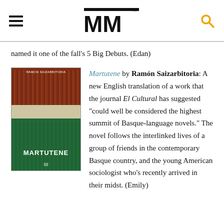[Figure (logo): MM (Melville House) logo with TM mark, hamburger menu icon on left, search icon on right]
named it one of the fall’s 5 Big Debuts. (Edan)
[Figure (photo): Book cover of Martutene by Ramon Saizarbitoria, showing red/earthy tones on top half and green tones on bottom half]
Martutene by Ramón Saizarbitoria: A new English translation of a work that the journal El Cultural has suggested “could well be considered the highest summit of Basque-language novels.” The novel follows the interlinked lives of a group of friends in the contemporary Basque country, and the young American sociologist who’s recently arrived in their midst. (Emily)